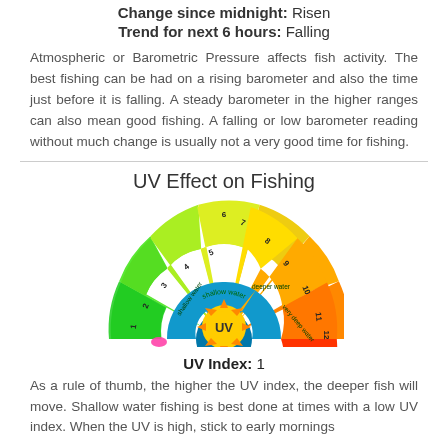Change since midnight:  Risen
Trend for next 6 hours:  Falling
Atmospheric or Barometric Pressure affects fish activity. The best fishing can be had on a rising barometer and also the time just before it is falling. A steady barometer in the higher ranges can also mean good fishing. A falling or low barometer reading without much change is usually not a very good time for fishing.
UV Effect on Fishing
[Figure (infographic): UV index semicircle gauge colored from green (1) through yellow, orange, red to magenta (12), with inner bands labeled 'shallow water', 'deeper water', 'very deep water', a sun icon in the center labeled UV, and a pink marker indicating UV Index of 1]
UV Index:  1
As a rule of thumb, the higher the UV index, the deeper fish will move. Shallow water fishing is best done at times with a low UV index. When the UV is high, stick to early mornings